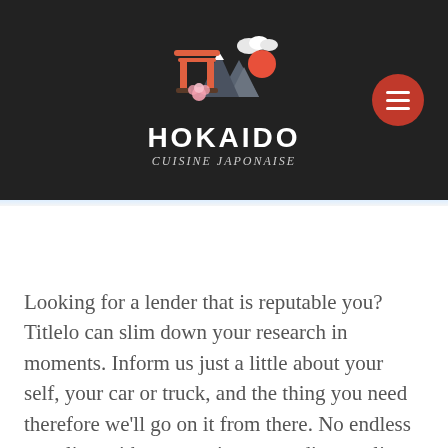[Figure (logo): Hokaido Cuisine Japonaise logo with Japanese torii gate, mountain, sun, cherry blossom, and clouds on dark background]
Looking for a lender that is reputable you? Titlelo can slim down your research in moments. Inform us just a little about your self, your car or truck, and the thing you need therefore we'll go on it from there. No endless googling with no questions regarding quality: